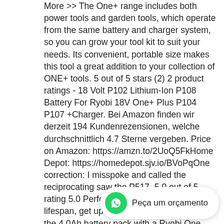More >> The One+ range includes both power tools and garden tools, which operate from the same battery and charger system, so you can grow your tool kit to suit your needs. Its convenient, portable size makes this tool a great addition to your collection of ONE+ tools. 5 out of 5 stars (2) 2 product ratings - 18 Volt P102 Lithium-Ion P108 Battery For Ryobi 18V One+ Plus P104 P107 +Charger. Bei Amazon finden wir derzeit 194 Kundenrezensionen, welche durchschnittlich 4.7 Sterne vergeben. Price on Amazon: https://amzn.to/2UoQ5FkHome Depot: https://homedepot.sjv.io/BVoPqOne correction: I misspoke and called the reciprocating saw the P517. 5.0 out of 5 rating 5.0 Performance. With an impressive lifespan, get up to 95% more charge* with the 4.0Ah battery pack with a Ryobi One Plus 18V battery. Invest in your new Ryobi battery powered nail gun before 4pm today, to make sure your order is shipped by the next working day. User Manuals, Guides and Specifications for your Ryobi ONE Plus Battery Charger. Every tool in the Ryobi One Plus range is designed to work from a single set of batteries. Add to wishlist. Ryobi R18PD31-213S One Plus Cordless Compact Percussion Drill Starter Kit, 18 V, Hyper Green 4.9 out of 5 stars 19 Ryobi R18IDP-120S ONE+ Cordless Impact Driver Starter Kit, 18 V, Hyper Green Get your hedge trimmer, your lawnmower or any power tool at a special price on our website. This any device
[Figure (other): WhatsApp chat widget with green icon and 'Peça um orçamento' label]